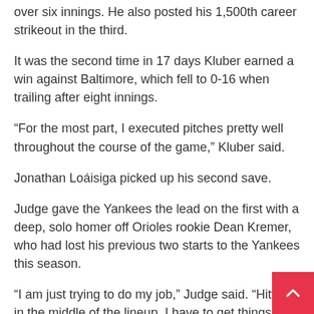over six innings. He also posted his 1,500th career strikeout in the third.
It was the second time in 17 days Kluber earned a win against Baltimore, which fell to 0-16 when trailing after eight innings.
“For the most part, I executed pitches pretty well throughout the course of the game,” Kluber said.
Jonathan Loáisiga picked up his second save.
Judge gave the Yankees the lead on the first with a deep, solo homer off Orioles rookie Dean Kremer, who had lost his previous two starts to the Yankees this season.
“I am just trying to do my job,” Judge said. “Hitting in the middle of the lineup, I have to get things going. I was just trying to do what